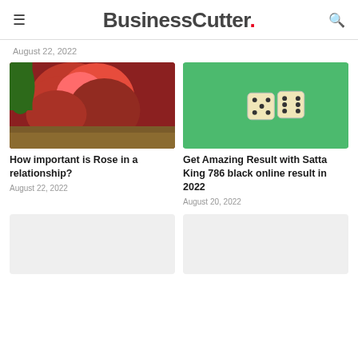BusinessCutter.
August 22, 2022
[Figure (photo): Red roses on a wooden surface]
How important is Rose in a relationship?
August 22, 2022
[Figure (photo): Two dice on a green background]
Get Amazing Result with Satta King 786 black online result in 2022
August 20, 2022
[Figure (photo): Placeholder image bottom left]
[Figure (photo): Placeholder image bottom right]